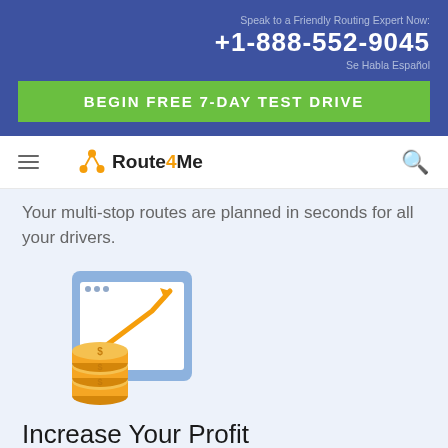Speak to a Friendly Routing Expert Now:
+1-888-552-9045
Se Habla Español
BEGIN FREE 7-DAY TEST DRIVE
Route4Me
Your multi-stop routes are planned in seconds for all your drivers.
[Figure (illustration): Illustration of a tablet/monitor screen showing an upward trending orange arrow above stacked gold coins, representing profit growth.]
Increase Your Profit